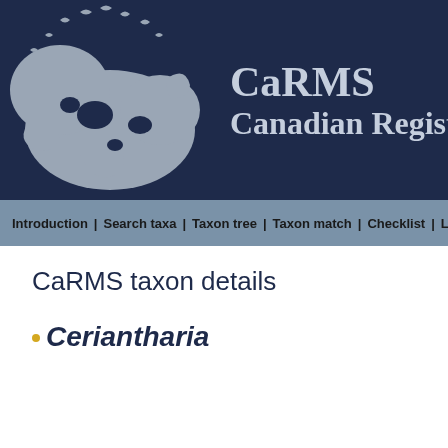[Figure (logo): CaRMS logo banner with dark navy background showing a stylized world map in light grey with birds, and text 'CaRMS Canadian Register' in grey-blue serif font]
Introduction | Search taxa | Taxon tree | Taxon match | Checklist | L
CaRMS taxon details
Ceriantharia